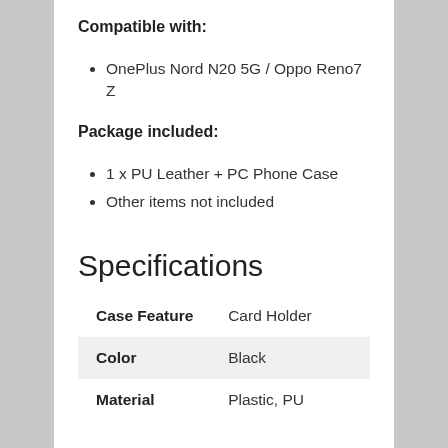Compatible with:
OnePlus Nord N20 5G / Oppo Reno7 Z
Package included:
1 x PU Leather + PC Phone Case
Other items not included
Specifications
| Case Feature | Card Holder |
| --- | --- |
| Color | Black |
| Material | Plastic, PU |